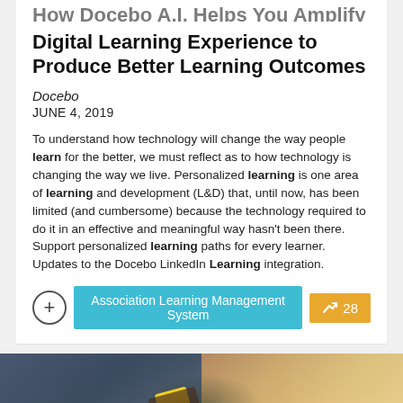How Docebo A.I. Helps You Amplify Digital Learning Experience to Produce Better Learning Outcomes
Docebo
JUNE 4, 2019
To understand how technology will change the way people learn for the better, we must reflect as to how technology is changing the way we live. Personalized learning is one area of learning and development (L&D) that, until now, has been limited (and cumbersome) because the technology required to do it in an effective and meaningful way hasn't been there. Support personalized learning paths for every learner. Updates to the Docebo LinkedIn Learning integration.
Association Learning Management System
28
[Figure (photo): Close-up photo of a person writing with a yellow pencil, wearing a dark shirt and bracelet]